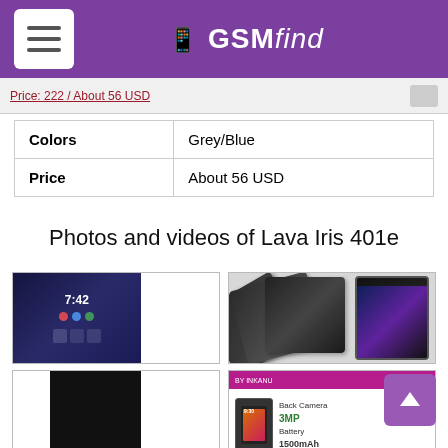GSMfind
|  |  |
| --- | --- |
| Colors | Grey/Blue |
| Price | About 56 USD |
Photos and videos of Lava Iris 401e
[Figure (photo): Lava Iris 401e phone front view showing dark UI screen and white panel]
[Figure (photo): Fan arrangement of Lava Iris 401e phones showing multiple colored back panels]
[Figure (photo): Lava Iris 401e back view showing mostly dark panel]
[Figure (infographic): Lava Iris 401e spec highlight: Back Camera 3MP, Battery 1500mAh, with purple brand bar at top]
[Figure (photo): Lava Iris 401e additional photo (partially visible)]
[Figure (photo): Lava Iris 401e additional photo (partially visible)]